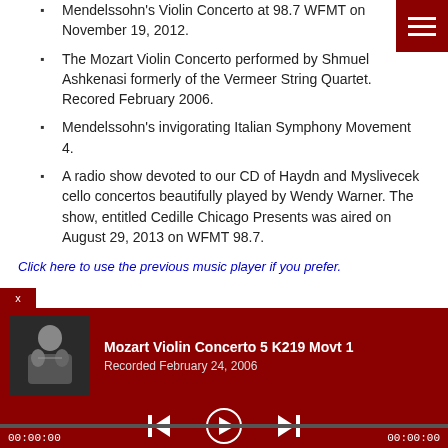Mendelssohn's Violin Concerto at 98.7 WFMT on November 19, 2012.
The Mozart Violin Concerto performed by Shmuel Ashkenasi formerly of the Vermeer String Quartet. Recored February 2006.
Mendelssohn's invigorating Italian Symphony Movement 4.
A radio show devoted to our CD of Haydn and Myslivecek cello concertos beautifully played by Wendy Warner. The show, entitled Cedille Chicago Presents was aired on August 29, 2013 on WFMT 98.7.
Click here to use the previous music player if you prefer.
Mozart Violin Concerto 5 K219 Movt 1
Recorded February 24, 2006
00:00:00   00:00:00